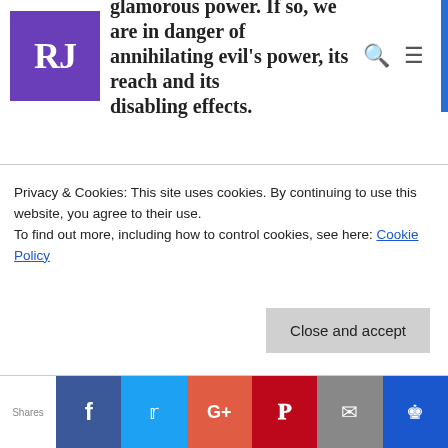glamorous power. If so, we are in danger of annihilating evil's power, its reach and its disabling effects.
Looking at photos of the thousands of police and security forces deployed in Boston, the city and region in lockdown and the legions of officers in SWAT gear (all of which we've seen countless times in the movies), I couldn't help but wonder if we were giving evil more than its due.
Privacy & Cookies: This site uses cookies. By continuing to use this website, you agree to their use.
To find out more, including how to control cookies, see here: Cookie Policy
Close and accept
Shares  f  t  G+  P  mail  crown